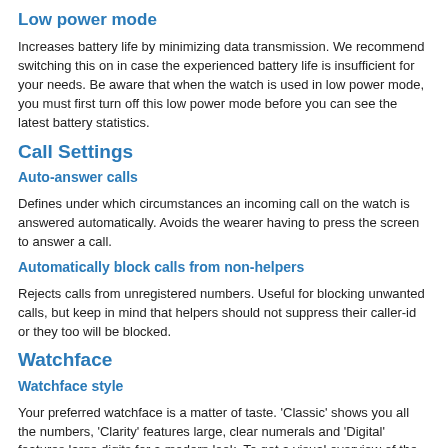Low power mode
Increases battery life by minimizing data transmission. We recommend switching this on in case the experienced battery life is insufficient for your needs. Be aware that when the watch is used in low power mode, you must first turn off this low power mode before you can see the latest battery statistics.
Call Settings
Auto-answer calls
Defines under which circumstances an incoming call on the watch is answered automatically. Avoids the wearer having to press the screen to answer a call.
Automatically block calls from non-helpers
Rejects calls from unregistered numbers. Useful for blocking unwanted calls, but keep in mind that helpers should not suppress their caller-id or they too will be blocked.
Watchface
Watchface style
Your preferred watchface is a matter of taste. 'Classic' shows you all the numbers, 'Clarity' features large, clear numerals and 'Digital' features large digits for a modern look. To get a visual overview of the different watchfaces, see: What is the difference between the three different watchface styles?
Watchface theme